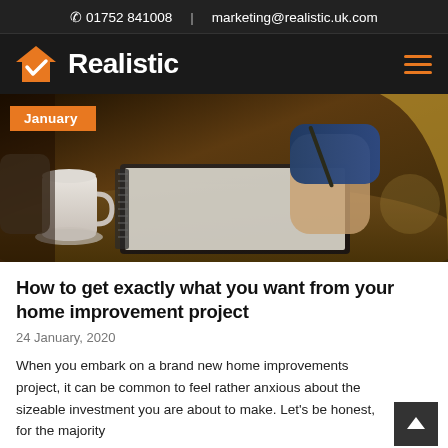01752 841008 | marketing@realistic.uk.com
[Figure (logo): Realistic company logo with orange house/checkmark icon and white bold text 'Realistic' on dark background, with orange hamburger menu icon on right]
[Figure (photo): Hero image of a person writing in a notebook at a table with a coffee mug, with an orange 'January' badge overlay in top left corner]
How to get exactly what you want from your home improvement project
24 January, 2020
When you embark on a brand new home improvements project, it can be common to feel rather anxious about the sizeable investment you are about to make. Let's be honest, for the majority